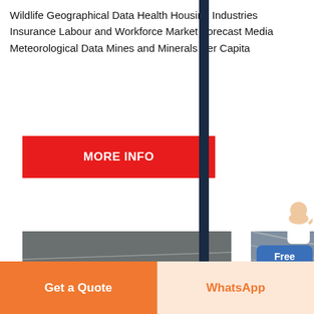Wildlife Geographical Data Health Housing Industries Insurance Labour and Workforce Market Forecast Media Meteorological Data Mines and Minerals Per Capita
[Figure (other): Red MORE INFO button]
[Figure (photo): Three industrial factory photos showing steel manufacturing equipment, metal beams, and overhead cranes inside a large warehouse]
[Figure (other): Blue Free chat bubble with female avatar above it, and a dark circular scroll-up button]
[Figure (other): Bottom action bar with orange 'Get a Quote' button and cream 'WhatsApp' button]